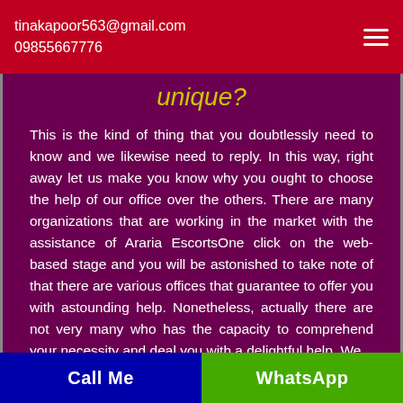tinakapoor563@gmail.com
09855667776
unique?
This is the kind of thing that you doubtlessly need to know and we likewise need to reply. In this way, right away let us make you know why you ought to choose the help of our office over the others. There are many organizations that are working in the market with the assistance of Araria EscortsOne click on the web-based stage and you will be astonished to take note of that there are various offices that guarantee to offer you with astounding help. Nonetheless, actually there are not very many who has the capacity to comprehend your necessity and deal you with a delightful help. We
Call Me   WhatsApp